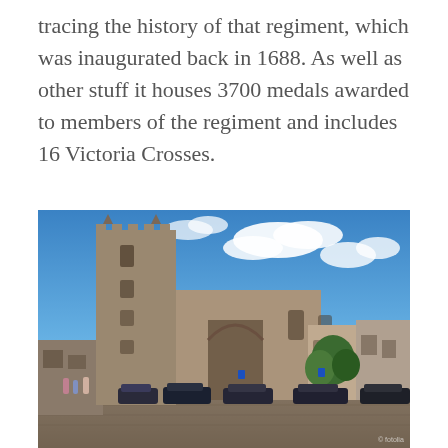tracing the history of that regiment, which was inaugurated back in 1688. As well as other stuff it houses 3700 medals awarded to members of the regiment and includes 16 Victoria Crosses.
[Figure (photo): Photograph of a historic stone church or priory building with a tall square tower, set in a market square. Blue sky with white clouds above. Cars parked in front, people walking on cobblestones.]